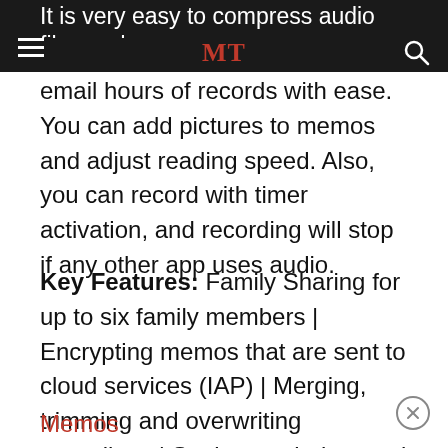MT
It is very easy to compress audio files and email hours of records with ease. You can add pictures to memos and adjust reading speed. Also, you can record with timer activation, and recording will stop if any other app uses audio.
Key Features: Family Sharing for up to six family members | Encrypting memos that are sent to cloud services (IAP) | Merging, trimming and overwriting recordings | Setting reminders and fixing memo alert dates | Download from Apple Store: Audio Memos